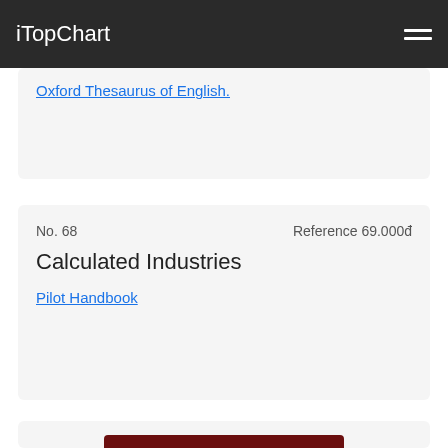iTopChart
Oxford Thesaurus of English.
No. 68   Reference 69.000đ
Calculated Industries
Pilot Handbook
[Figure (illustration): Religious communion items: a golden cross, a golden chalice/goblet, a communion wafer, and a loaf of bread on a dark red background]
No. 69   Reference 109.000đ